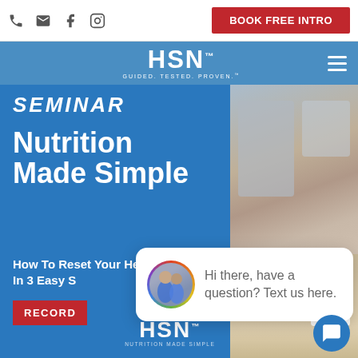BOOK FREE INTRO
[Figure (logo): HSN logo - GUIDED. TESTED. PROVEN.]
[Figure (screenshot): Website screenshot showing HSN Nutrition Seminar banner: 'Nutrition Made Simple - How To Reset Your Health In 3 Easy Steps' with RECORD button and Powered by HSN logo]
close
Hi there, have a question? Text us here.